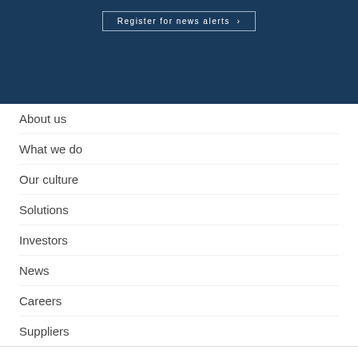Register for news alerts >
About us
What we do
Our culture
Solutions
Investors
News
Careers
Suppliers
[Figure (logo): Facebook, LinkedIn, and Twitter social media icons]
Terms & conditions
Privacy and cookies policy